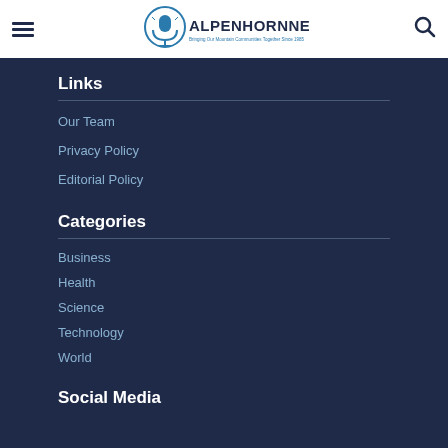AlpenhornNews — Bringing Our Mountain Communities Together Since 1985
Links
Our Team
Privacy Policy
Editorial Policy
Categories
Business
Health
Science
Technology
World
Social Media